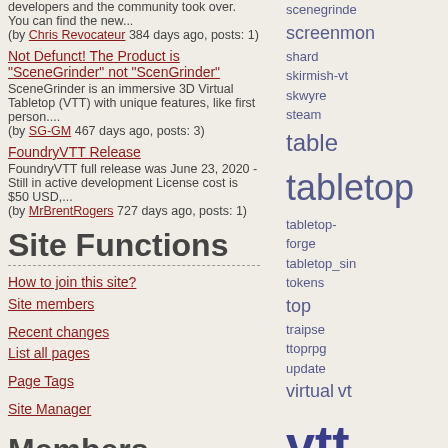developers and the community took over. You can find the new... (by Chris Revocateur 384 days ago, posts: 1)
Not Defunct! The Product is "SceneGrinder" not "ScenGrinder" - SceneGrinder is an immersive 3D Virtual Tabletop (VTT) with unique features, like first person.... (by SG-GM 467 days ago, posts: 3)
FoundryVTT Release - FoundryVTT full release was June 23, 2020 - Still in active development License cost is $50 USD,... (by MrBrentRogers 727 days ago, posts: 1)
Site Functions
How to join this site?
Site members
Recent changes
List all pages
Page Tags
Site Manager
Members
scenegrinde screenmon shard skirmish-vt skwyre steam table tabletop tabletop-forge tabletop_sin tokens top traipse ttoprpg update virtual vt vtt web window
community:
Fantasy Grounds
Rolisteam
Roll20
Shard Tabletop